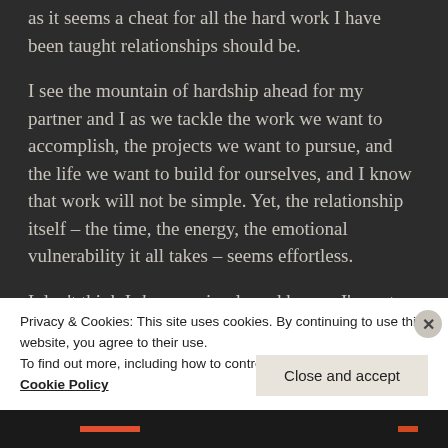as it seems a cheat for all the hard work I have been taught relationships should be.
I see the mountain of hardship ahead for my partner and I as we tackle the work we want to accomplish, the projects we want to pursue, and the life we want to build for ourselves, and I know that work will not be simple. Yet, the relationship itself – the time, the energy, the emotional vulnerability it all takes – seems effortless.
I don't think I deserve simple and happy, I'm not even sure I do want it, but the positivity exists with
Privacy & Cookies: This site uses cookies. By continuing to use this website, you agree to their use.
To find out more, including how to control cookies, see here:
Cookie Policy
Close and accept